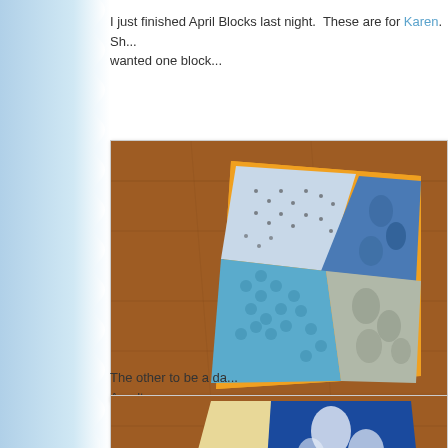I just finished April Blocks last night.  These are for Karen.  Sh... wanted one block...
[Figure (photo): A quilt block made from blue, orange, and gray patterned fabrics laid on a wooden surface. Fabrics include dotted, hexagon, and floral prints in blue, orange, and gray tones.]
The other to be a da... Aren't...
[Figure (photo): A second quilt block partially visible, showing bold blue floral fabric and cream/yellow fabric on a wooden surface.]